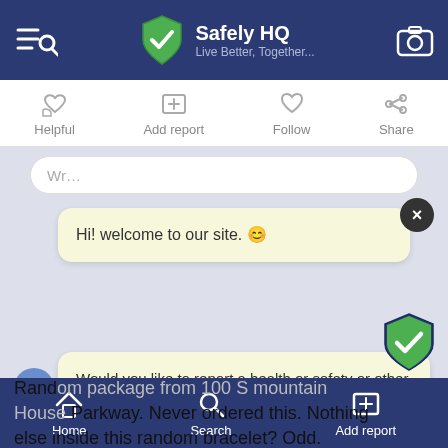[Figure (screenshot): Mobile app top navigation bar with menu/search icon on left, Safely HQ shield logo and brand name in center, camera icon on right. Background is dark navy blue.]
Safely HQ
Live Better, Together...
[Figure (screenshot): Action bar with four icons: Helpful (thumbs up), Add report (plus box), Follow (heart), Share (arrow)]
Hi! welcome to our site. 😊
Would you like to report a health or safety or other community issue?
Yes
Skip
Random package from 100 S mountain House Parkway. Never ordered this. Nothing else inside this random bracelet? Odd.
[Figure (screenshot): Bottom navigation bar with Home, Search, and Add report icons on dark navy background]